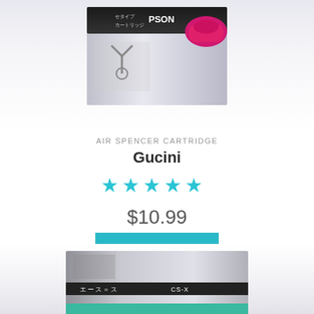[Figure (photo): Top portion of an Air Spencer cartridge product box with Japanese text and pink/magenta design element, shown against a light purple-white gradient background]
AIR SPENCER CARTRIDGE
Gucini
[Figure (infographic): Five filled cyan/teal star rating icons indicating a 5-star rating]
$10.99
Add to cart
[Figure (photo): Bottom portion of another product box with green and grey design and Japanese text visible, partially cropped at the bottom of the page]